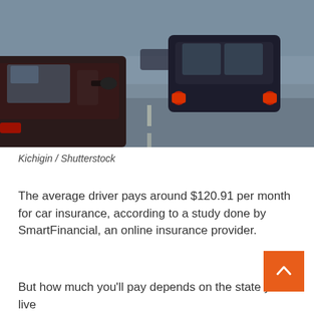[Figure (photo): Cars in traffic viewed from behind, with red brake lights illuminated on dark-colored vehicles on a road.]
Kichigin / Shutterstock
The average driver pays around $120.91 per month for car insurance, according to a study done by SmartFinancial, an online insurance provider.
But how much you'll pay depends on the state you live